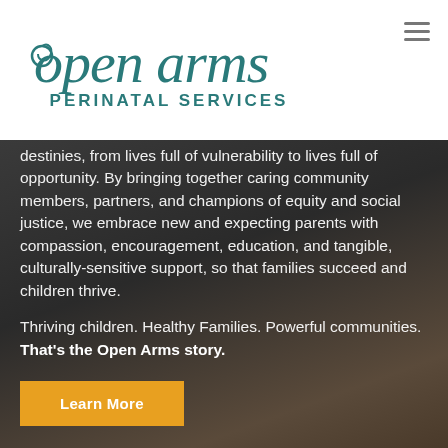[Figure (logo): Open Arms Perinatal Services logo — cursive 'open arms' text in teal with 'PERINATAL SERVICES' in teal sans-serif below]
destinies, from lives full of vulnerability to lives full of opportunity. By bringing together caring community members, partners, and champions of equity and social justice, we embrace new and expecting parents with compassion, encouragement, education, and tangible, culturally-sensitive support, so that families succeed and children thrive.
Thriving children. Healthy Families. Powerful communities. That's the Open Arms story.
Learn More